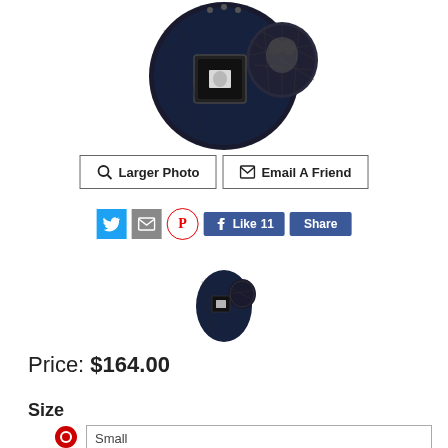[Figure (photo): Dark navy/black pet carrier backpack with mesh window and logo label, shown from the side/back angle]
[Figure (other): Larger Photo button with magnifying glass icon]
[Figure (other): Email A Friend button with envelope icon]
[Figure (other): Social sharing buttons: Twitter (blue bird), email (envelope), Pinterest (red P), Facebook Like 11 button, Facebook Share button]
[Figure (photo): Small thumbnail of the same dark navy pet carrier backpack]
Price: $164.00
Size
Small